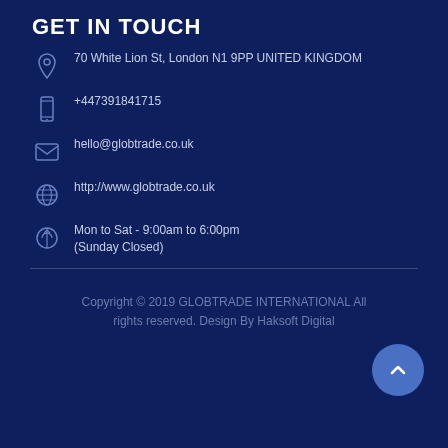GET IN TOUCH
70 White Lion St, London N1 9PP UNITED KINGDOM
+447391841715
hello@globtrade.co.uk
http://www.globtrade.co.uk
Mon to Sat - 9:00am to 6:00pm (Sunday Closed)
Copyright © 2019 GLOBTRADE INTERNATIONAL All rights reserved. Design By Haksoft Digital